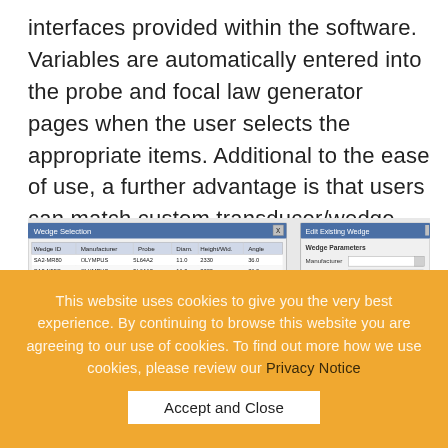interfaces provided within the software. Variables are automatically entered into the probe and focal law generator pages when the user selects the appropriate items. Additional to the ease of use, a further advantage is that users can match custom transducer/wedge combinations at the click of a button.
[Figure (screenshot): Software interface screenshots showing Wedge Selection dialog with a table of wedge IDs, manufacturers, probes, and parameters, plus an Edit Existing Wedge dialog with Wedge Parameters form fields.]
This website uses cookies to give you the very best experience. By continuing to browse this website you are agreeing to our use of cookies. To find out more how we use cookies, please review our Privacy Notice